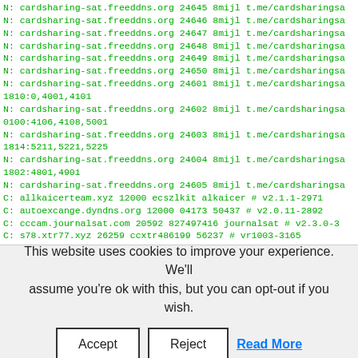N: cardsharing-sat.freeddns.org 24645 8mijl t.me/cardsharingsа
N: cardsharing-sat.freeddns.org 24646 8mijl t.me/cardsharingsа
N: cardsharing-sat.freeddns.org 24647 8mijl t.me/cardsharingsа
N: cardsharing-sat.freeddns.org 24648 8mijl t.me/cardsharingsа
N: cardsharing-sat.freeddns.org 24649 8mijl t.me/cardsharingsа
N: cardsharing-sat.freeddns.org 24650 8mijl t.me/cardsharingsа
N: cardsharing-sat.freeddns.org 24601 8mijl t.me/cardsharingsа
1810:0,4001,4101
N: cardsharing-sat.freeddns.org 24602 8mijl t.me/cardsharingsа
0100:4106,4108,5001
N: cardsharing-sat.freeddns.org 24603 8mijl t.me/cardsharingsа
1814:5211,5221,5225
N: cardsharing-sat.freeddns.org 24604 8mijl t.me/cardsharingsа
1802:4801,4901
N: cardsharing-sat.freeddns.org 24605 8mijl t.me/cardsharingsа
C: allkaicerteam.xyz 12000 ecszlkit alkaicer # v2.1.1-2971
C: autoexcange.dyndns.org 12000 04173 50437 # v2.0.11-2892
C: cccam.journalsat.com 20592 827497416 journalsat # v2.3.0-3
C: s78.xtr77.xyz 26259 ccxtr486199 56237 # vr1003-3165
C: s78.xtr77.xyz 27159 ccxtr486202 857283 # v2.1.3-3165
C: s78.xtr77.xyz 27159 ccxtr486203 344637 # v2.1.3-3165
C: s78.xtr77.xyz 27159 ccxtr486198 8580 # v2.1.3-3165
C: s78.xtr77.xyz 27159 ccxtr480967 426433 # v2.1.3-3165
C: s78.xtr77.xyz 27159 ccxtr486199 56237 # v2.1.3-3165
C: s78.xtr77.xyz 27159 ccxtr486200 037819 # v2.1.3-3165
This website uses cookies to improve your experience. We'll assume you're ok with this, but you can opt-out if you wish.
Accept | Reject | Read More